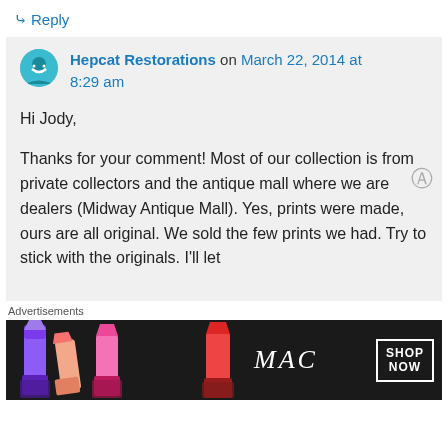↪ Reply
Hepcat Restorations on March 22, 2014 at 8:29 am
Hi Jody,

Thanks for your comment! Most of our collection is from private collectors and the antique mall where we are dealers (Midway Antique Mall). Yes, prints were made, ours are all original. We sold the few prints we had. Try to stick with the originals. I'll let
Advertisements
[Figure (photo): MAC cosmetics advertisement banner showing lipsticks in purple, peach, and pink colors with MAC logo and SHOP NOW button]